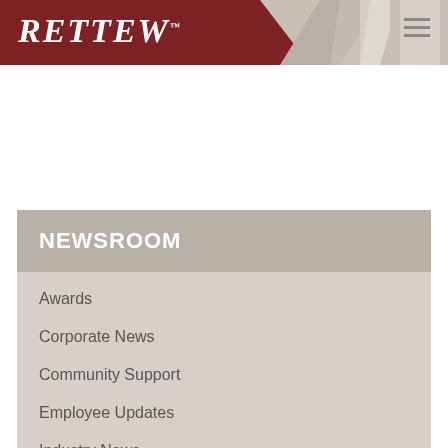[Figure (logo): RETTEW company logo in white italic serif font on dark red background with geometric diagonal design]
NEWSROOM
Awards
Corporate News
Community Support
Employee Updates
Industry News
Internships
Project Updates